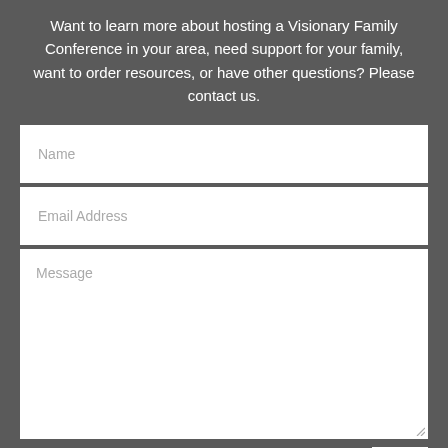Want to learn more about hosting a Visionary Family Conference in your area, need support for your family, want to order resources, or have other questions? Please contact us.
[Figure (other): Contact form with three input fields: Name (single-line text input), Email Address (single-line text input), Message (multi-line textarea), and a partially visible submit button at the bottom right.]